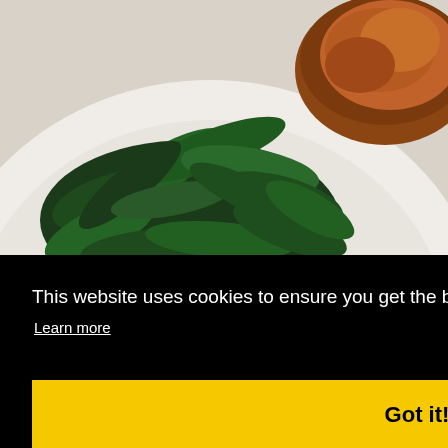[Figure (photo): Close-up photo of a white plate with dark green sauteed spinach leaves and a piece of browned/seared meat visible at upper right. White background and another plate visible beneath.]
This website uses cookies to ensure you get the best experience on our website.
Learn more
Got it!
[Figure (photo): Partial view of another food dish at the bottom of the page, dark background with warm-toned food visible.]